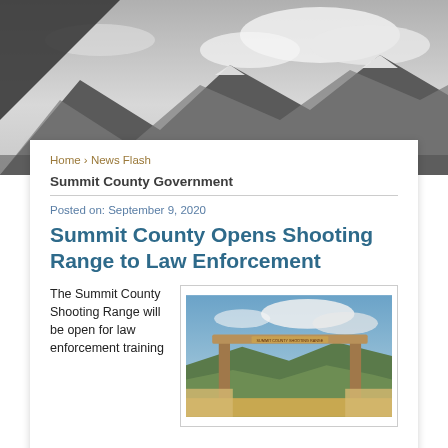[Figure (photo): Black and white mountain landscape with snow-capped peaks and dramatic clouds — website header background image]
Home › News Flash
Summit County Government
Posted on: September 9, 2020
Summit County Opens Shooting Range to Law Enforcement
The Summit County Shooting Range will be open for law enforcement training
[Figure (photo): Photograph of the Summit County Shooting Range entrance gate — wooden posts with a crossbar sign, blue sky and hills in background]